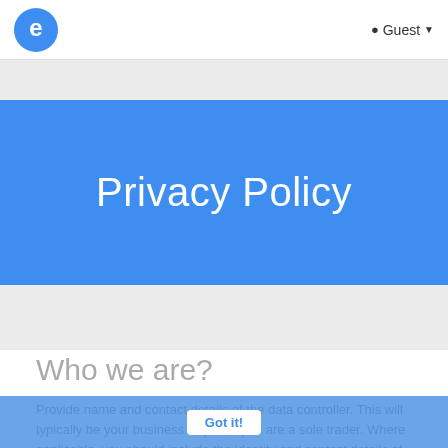Guest
Privacy Policy
Who we are?
Provide name and contact details of the data controller. This will typically be your business or you, if you are a sole trader. Where applicable, you should include the identity and contact details of the controller's representative and/or the data protection officer.